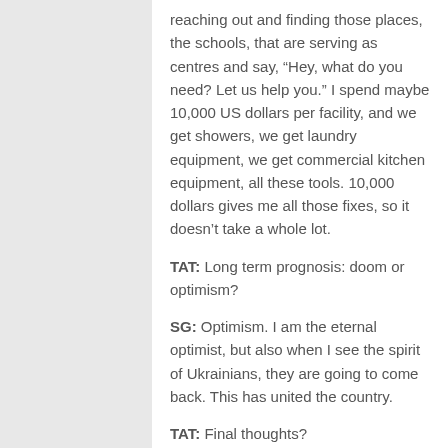reaching out and finding those places, the schools, that are serving as centres and say, “Hey, what do you need? Let us help you.” I spend maybe 10,000 US dollars per facility, and we get showers, we get laundry equipment, we get commercial kitchen equipment, all these tools. 10,000 dollars gives me all those fixes, so it doesn’t take a whole lot.
TAT: Long term prognosis: doom or optimism?
SG: Optimism. I am the eternal optimist, but also when I see the spirit of Ukrainians, they are going to come back. This has united the country.
TAT: Final thoughts?
SG: If you have the opportunity to come to some of the safe areas of Ukraine, even after